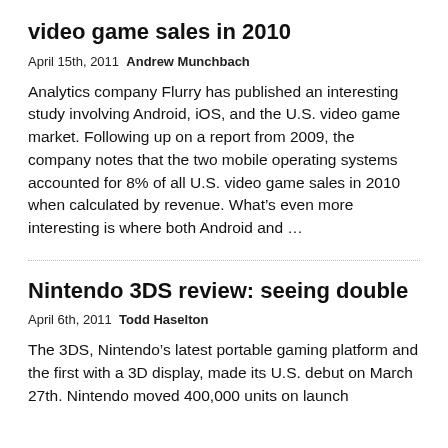video game sales in 2010
April 15th, 2011  Andrew Munchbach
Analytics company Flurry has published an interesting study involving Android, iOS, and the U.S. video game market. Following up on a report from 2009, the company notes that the two mobile operating systems accounted for 8% of all U.S. video game sales in 2010 when calculated by revenue. What’s even more interesting is where both Android and …
Nintendo 3DS review: seeing double
April 6th, 2011  Todd Haselton
The 3DS, Nintendo’s latest portable gaming platform and the first with a 3D display, made its U.S. debut on March 27th. Nintendo moved 400,000 units on launch